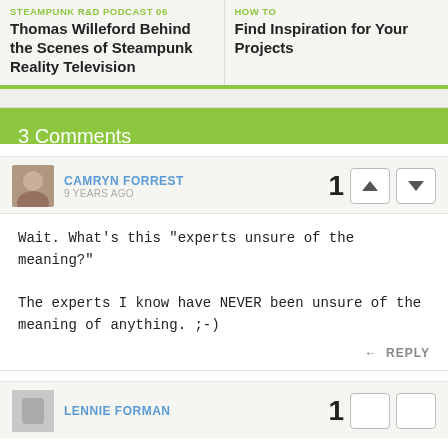STEAMPUNK R&D PODCAST 06
Thomas Willeford Behind the Scenes of Steampunk Reality Television
HOW TO
Find Inspiration for Your Projects
3 Comments
CAMRYN FORREST
9 YEARS AGO
Wait. What's this "experts unsure of the meaning?"

The experts I know have NEVER been unsure of the meaning of anything. ;-)
REPLY
LENNIE FORMAN